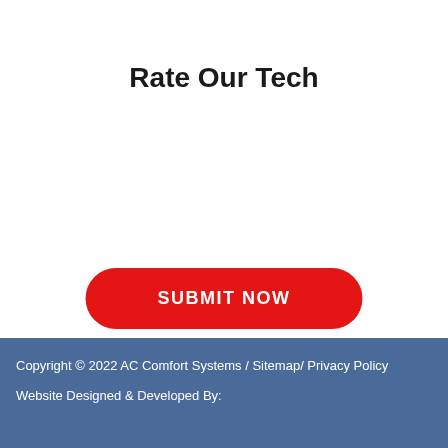Rate Our Tech
SUBMIT NOW
Copyright © 2022 AC Comfort Systems / Sitemap/ Privacy Policy
Website Designed & Developed By: